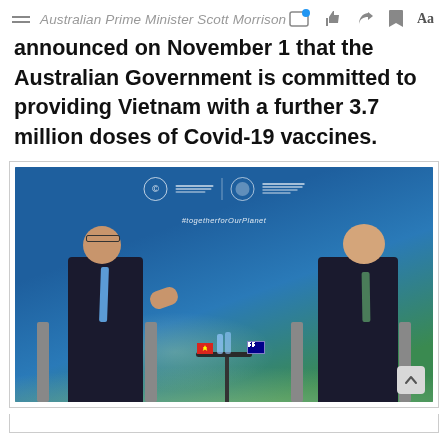Australian Prime Minister Scott Morrison
announced on November 1 that the Australian Government is committed to providing Vietnam with a further 3.7 million doses of Covid-19 vaccines.
[Figure (photo): Two officials seated in chairs at a COP26 meeting background. On the left, a man in a dark suit with a blue tie speaks gesturing with his hand. On the right, a man in a dark suit with a green tie sits listening. Between them is a small round table with Vietnamese and Australian flags and water bottles. The blue backdrop shows UN Climate Change Conference logos and the text 'Together for Our Planet'.]